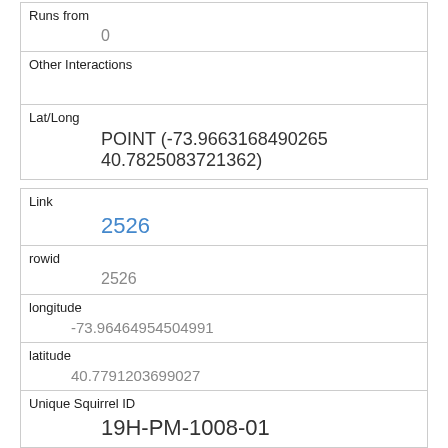| Runs from | 0 |
| Other Interactions |  |
| Lat/Long | POINT (-73.9663168490265 40.7825083721362) |
| Link | 2526 |
| rowid | 2526 |
| longitude | -73.96464954504991 |
| latitude | 40.7791203699027 |
| Unique Squirrel ID | 19H-PM-1008-01 |
| Hectare | 19H |
| Shift | PM |